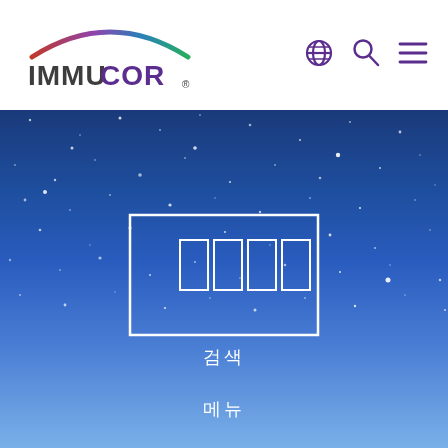[Figure (logo): Immucor logo with colorful arc above text]
[Figure (screenshot): Immucor website screenshot showing starry night sky background with navigation header, a white outlined box containing four white outlined rectangles (loading indicator), and three lines of Korean text below]
검색
메뉴
언어 선택